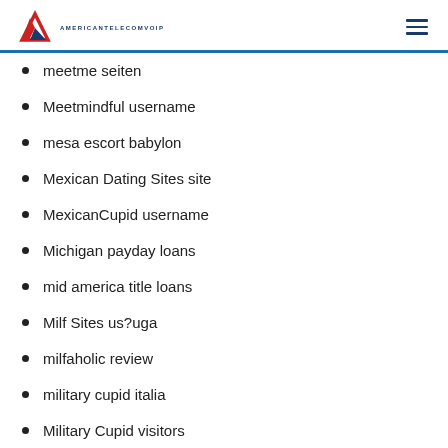AMERICANTELECOMVOIP
meetme seiten
Meetmindful username
mesa escort babylon
Mexican Dating Sites site
MexicanCupid username
Michigan payday loans
mid america title loans
Milf Sites us?uga
milfaholic review
military cupid italia
Military Cupid visitors
Military Dating Sites sites